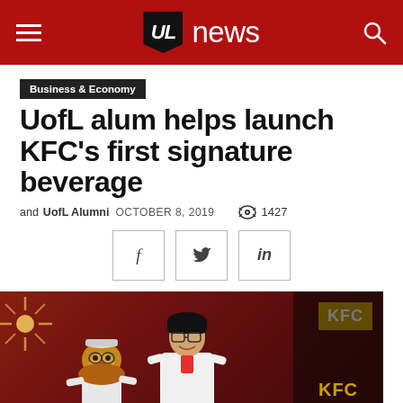UL news
Business & Economy
UofL alum helps launch KFC's first signature beverage
and UofL Alumni  OCTOBER 8, 2019   1427
[Figure (other): Social share buttons for Facebook, Twitter, and LinkedIn]
[Figure (photo): Person in white jacket standing next to a mascot (lion in a white jacket) holding food, with KFC branding visible in the background]